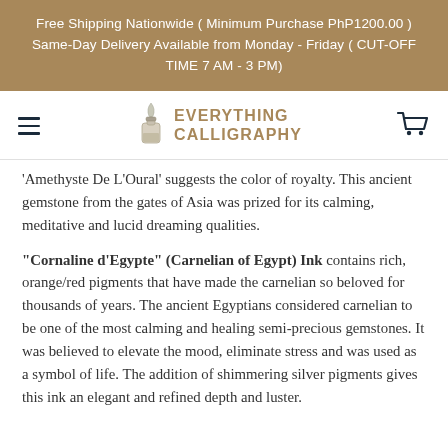Free Shipping Nationwide ( Minimum Purchase PhP1200.00 ) Same-Day Delivery Available from Monday - Friday ( CUT-OFF TIME 7 AM - 3 PM)
[Figure (logo): Everything Calligraphy logo with ink bottle and quill, shopping cart icon, and hamburger menu]
'Amethyste De L'Oural' suggests the color of royalty. This ancient gemstone from the gates of Asia was prized for its calming, meditative and lucid dreaming qualities.
"Cornaline d'Egypte" (Carnelian of Egypt) Ink contains rich, orange/red pigments that have made the carnelian so beloved for thousands of years. The ancient Egyptians considered carnelian to be one of the most calming and healing semi-precious gemstones. It was believed to elevate the mood, eliminate stress and was used as a symbol of life. The addition of shimmering silver pigments gives this ink an elegant and refined depth and luster.